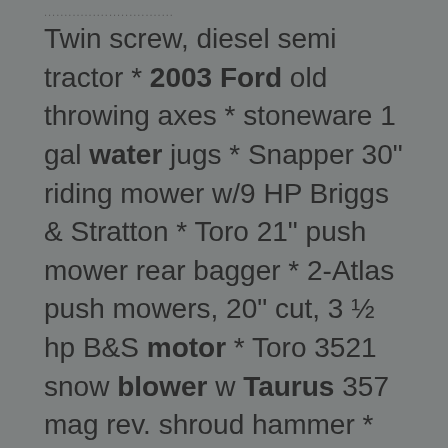Twin screw, diesel semi tractor * 2003 Ford old throwing axes * stoneware 1 gal water jugs * Snapper 30" riding mower w/9 HP Briggs & Stratton * Toro 21" push mower rear bagger * 2-Atlas push mowers, 20" cut, 3 ½ hp B&S motor * Toro 3521 snow blower w Taurus 357 mag rev. shroud hammer * Taurus ... Read Content
STATE 0F NEBRASKA 2009 SPRING AUCTION
2004 Ford Crown Victoria, 14 ea. 2004 Ford Van 350 Super 2004 Ford Taurus LX 2003 Dodge Caravan SE 2002 Dodge Durango 2002 Ford